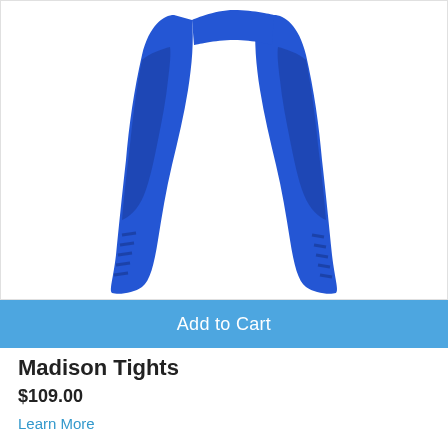[Figure (photo): Blue compression tights (Madison Tights) shown from waist to ankle on a white background. The tights are royal blue with darker blue/grey textured panel on the outer thigh and structured pattern on the lower leg.]
Add to Cart
Madison Tights
$109.00
Learn More